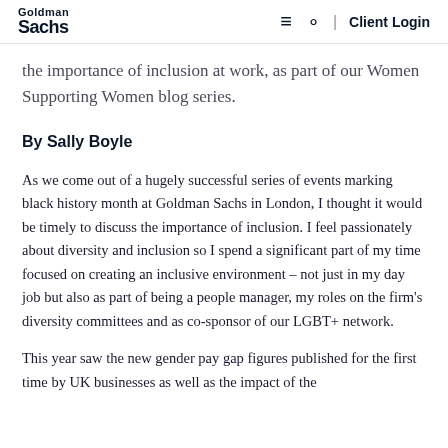Goldman Sachs | Client Login
the importance of inclusion at work, as part of our Women Supporting Women blog series.
By Sally Boyle
As we come out of a hugely successful series of events marking black history month at Goldman Sachs in London, I thought it would be timely to discuss the importance of inclusion. I feel passionately about diversity and inclusion so I spend a significant part of my time focused on creating an inclusive environment – not just in my day job but also as part of being a people manager, my roles on the firm's diversity committees and as co-sponsor of our LGBT+ network.
This year saw the new gender pay gap figures published for the first time by UK businesses as well as the impact of the